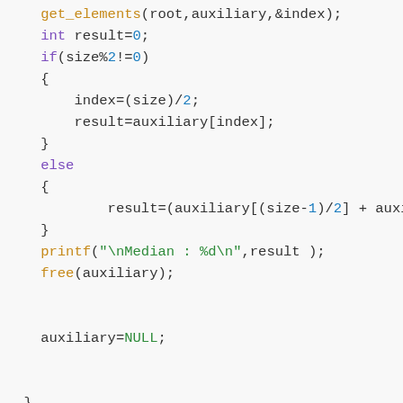Code snippet showing C function with get_elements, int result, if/else block for median calculation, printf, free, auxiliary=NULL, closing braces, and void inorder(struct Node*root) function declaration